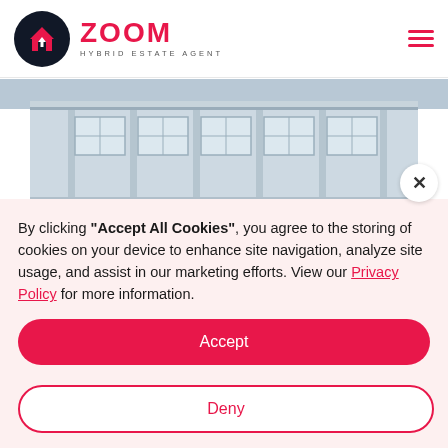ZOOM HYBRID ESTATE AGENT
[Figure (photo): Photograph of a classic building facade with white columns and windows]
By clicking "Accept All Cookies", you agree to the storing of cookies on your device to enhance site navigation, analyze site usage, and assist in our marketing efforts. View our Privacy Policy for more information.
Accept
Deny
Preferences